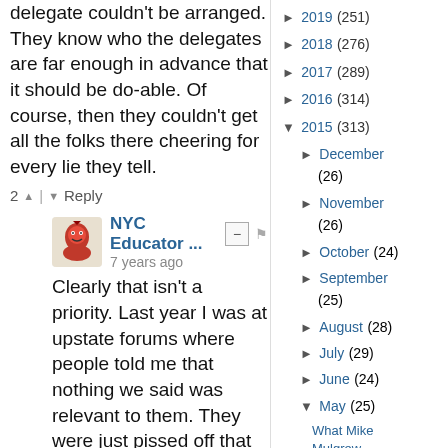delegate couldn't be arranged. They know who the delegates are far enough in advance that it should be do-able. Of course, then they couldn't get all the folks there cheering for every lie they tell.
2 ^ | v Reply
NYC Educator ... 7 years ago
Clearly that isn't a priority. Last year I was at upstate forums where people told me that nothing we said was relevant to them. They were just pissed off that they wouldn't be represented. I know exactly how they feel because not one UFT rep reflects my POV, or that of thousands of city teachers under the gun because of UFT/ NYSUT endorsed policies.
2 ^ | v Reply
► 2019 (251)
► 2018 (276)
► 2017 (289)
► 2016 (314)
▼ 2015 (313)
► December (26)
► November (26)
► October (24)
► September (25)
► August (28)
► July (29)
► June (24)
▼ May (25)
What Mike Mulgrew